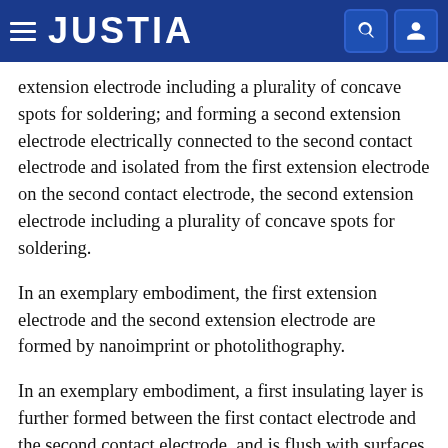JUSTIA
extension electrode including a plurality of concave spots for soldering; and forming a second extension electrode electrically connected to the second contact electrode and isolated from the first extension electrode on the second contact electrode, the second extension electrode including a plurality of concave spots for soldering.
In an exemplary embodiment, the first extension electrode and the second extension electrode are formed by nanoimprint or photolithography.
In an exemplary embodiment, a first insulating layer is further formed between the first contact electrode and the second contact electrode, and is flush with surfaces of the first contact electrode and the second contact electrode to constitute a forming surface. The forming the first extension electrode and the second extension